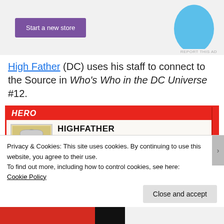[Figure (screenshot): Advertisement banner with purple 'Start a new store' button and a light blue curved shape on the right. 'REPORT THIS AD' text in small gray letters at bottom right.]
High Father (DC) uses his staff to connect to the Source in Who's Who in the DC Universe #12.
[Figure (screenshot): Comic book character card for HIGHFATHER. Red header bar with 'HERO' text. Portrait illustration of elderly man with white hair and beard. Stats include: Full Name: Izaya, Occupation: Ruler, Known Relatives: Avia (wife, deceased), Scott Free (son), Barda (daughter-in-law), Group Affiliation: The New Gods, Base of Operations: The planet New Genesis, First Appearance: THE NEW GODS (first series) #1 (February-March, 1971), Height: 6'4", Weight: 227 lbs, Eyes: Gray, Hair: White. Created by Jack Kirby.]
Privacy & Cookies: This site uses cookies. By continuing to use this website, you agree to their use.
To find out more, including how to control cookies, see here:
Cookie Policy
Close and accept